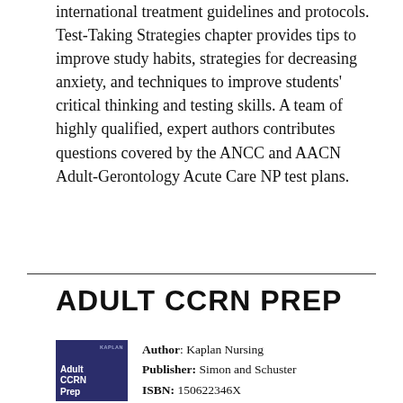international treatment guidelines and protocols. Test-Taking Strategies chapter provides tips to improve study habits, strategies for decreasing anxiety, and techniques to improve students' critical thinking and testing skills. A team of highly qualified, expert authors contributes questions covered by the ANCC and AACN Adult-Gerontology Acute Care NP test plans.
ADULT CCRN PREP
[Figure (illustration): Book cover for Adult CCRN Prep by Kaplan Nursing, dark navy blue background with white and light blue text showing 'Adult CCRN Prep' and Kaplan logo]
Author: Kaplan Nursing
Publisher: Simon and Schuster
ISBN: 150622346X